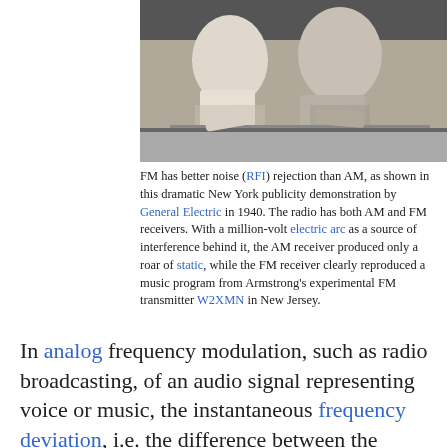[Figure (photo): Black and white historical photograph showing two men viewed from behind, leaning over equipment at a counter or table, likely a radio demonstration.]
FM has better noise (RFI) rejection than AM, as shown in this dramatic New York publicity demonstration by General Electric in 1940. The radio has both AM and FM receivers. With a million-volt electric arc as a source of interference behind it, the AM receiver produced only a roar of static, while the FM receiver clearly reproduced a music program from Armstrong's experimental FM transmitter W2XMN in New Jersey.
In analog frequency modulation, such as radio broadcasting, of an audio signal representing voice or music, the instantaneous frequency deviation, i.e. the difference between the frequency of the carrier and its center frequency, has a functional relation to the modulating signal amplitude.